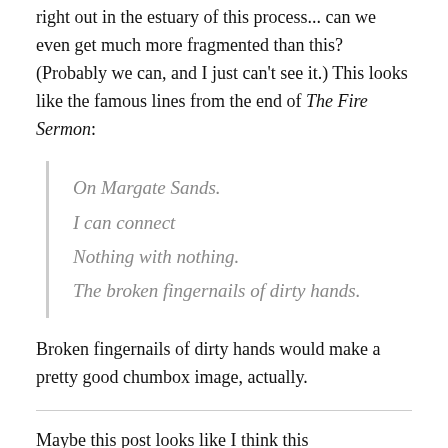right out in the estuary of this process... can we even get much more fragmented than this? (Probably we can, and I just can't see it.) This looks like the famous lines from the end of The Fire Sermon:
On Margate Sands.
I can connect
Nothing with nothing.
The broken fingernails of dirty hands.
Broken fingernails of dirty hands would make a pretty good chumbox image, actually.
Maybe this post looks like I think this fragmentation is